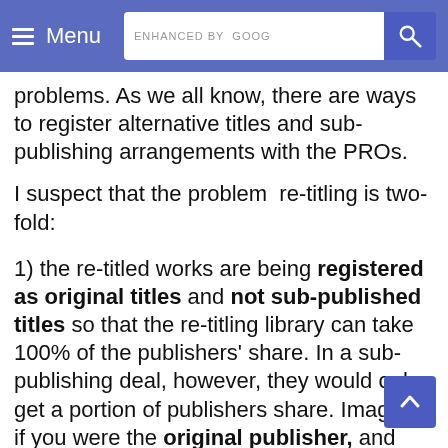Menu | ENHANCED BY Google [search]
problems. As we all know, there are ways to register alternative titles and sub-publishing arrangements with the PROs.
I suspect that the problem  re-titling is two-fold:
1) the re-titled works are being registered as original titles and not sub-published titles so that the re-titling library can take 100% of the publishers' share. In a sub-publishing deal, however, they would only get a portion of publishers share. Imagine if you were the original publisher, and instead of JP, SK and Crucial etc., each being an original publisher of your re-titled work they were each sub-publishers. Everyone would now have only a 25% publishing share (including you). That is the legitimate way of doing it, for which there is no controversy